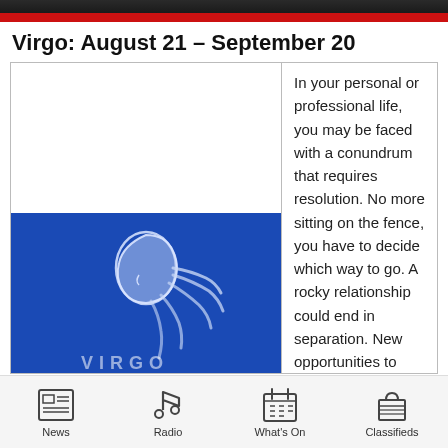Virgo: August 21 – September 20
[Figure (illustration): Virgo zodiac sign illustration: white line art of a woman's face in profile with flowing hair on a royal blue background, with the text 'VIRGO' partially visible at the bottom.]
In your personal or professional life, you may be faced with a conundrum that requires resolution. No more sitting on the fence, you have to decide which way to go. A rocky relationship could end in separation. New opportunities to change
News  Radio  What's On  Classifieds